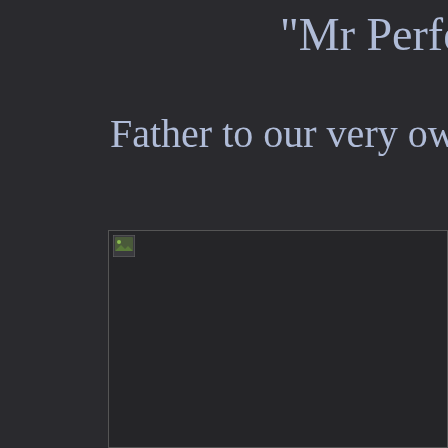"Mr Perfec
Father to our very own "B
[Figure (photo): A large image placeholder with a broken/loading image icon in the top-left corner, on a dark background]